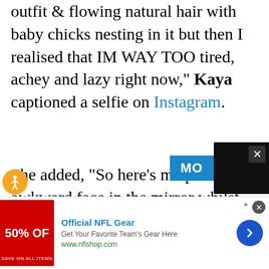outfit & flowing natural hair with baby chicks nesting in it but then I realised that IM WAY TOO tired, achey and lazy right now," Kaya captioned a selfie on Instagram.
She added, "So here's me pulling an awkward face in the mirror whilst wearing makeup for the first time in 6 months instead. We are very happy obviously. But mostly super tired."
Click inside to see the pregnancy reveal photo...
[Figure (screenshot): Advertisement overlay: Official NFL Gear - Get Your Favorite Team's Gear Here - www.nflshop.com, with red banner showing '50% OFF']